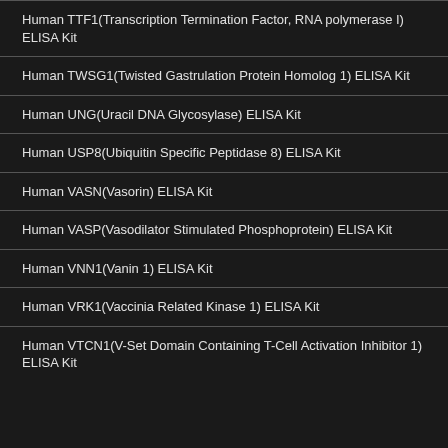Human TTF1(Transcription Termination Factor, RNA polymerase I) ELISA Kit
Human TWSG1(Twisted Gastrulation Protein Homolog 1) ELISA Kit
Human UNG(Uracil DNA Glycosylase) ELISA Kit
Human USP8(Ubiquitin Specific Peptidase 8) ELISA Kit
Human VASN(Vasorin) ELISA Kit
Human VASP(Vasodilator Stimulated Phosphoprotein) ELISA Kit
Human VNN1(Vanin 1) ELISA Kit
Human VRK1(Vaccinia Related Kinase 1) ELISA Kit
Human VTCN1(V-Set Domain Containing T-Cell Activation Inhibitor 1) ELISA Kit